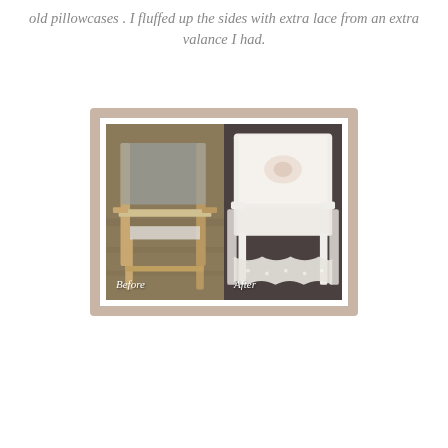old pillowcases . I fluffed up the sides with extra lace from an extra valance I had.
[Figure (photo): Before and after comparison of a chair makeover. Left side labeled 'Before' shows a bare wooden chair frame with removed upholstery on a hardwood floor. Right side labeled 'After' shows the same chair reupholstered with white lace fabric and decorative pillows.]